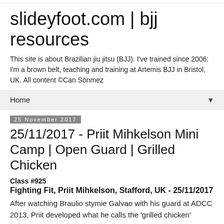slideyfoot.com | bjj resources
This site is about Brazilian jiu jitsu (BJJ). I've trained since 2006: I'm a brown belt, teaching and training at Artemis BJJ in Bristol, UK. All content ©Can Sönmez
Home
25 November 2017
25/11/2017 - Priit Mihkelson Mini Camp | Open Guard | Grilled Chicken
Class #925
Fighting Fit, Priit Mihkelson, Stafford, UK - 25/11/2017
After watching Braulio stymie Galvao with his guard at ADCC 2013, Priit developed what he calls the 'grilled chicken'